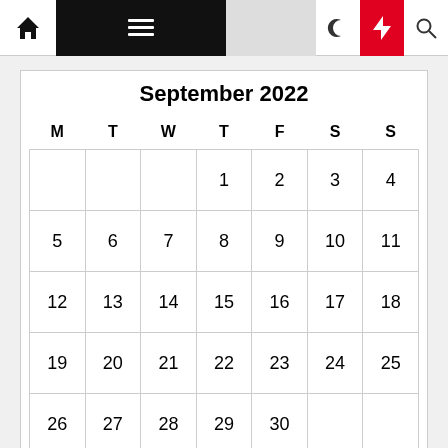Navigation bar with home, menu, moon, bolt, search icons
September 2022
| M | T | W | T | F | S | S |
| --- | --- | --- | --- | --- | --- | --- |
|  |  |  | 1 | 2 | 3 | 4 |
| 5 | 6 | 7 | 8 | 9 | 10 | 11 |
| 12 | 13 | 14 | 15 | 16 | 17 | 18 |
| 19 | 20 | 21 | 22 | 23 | 24 | 25 |
| 26 | 27 | 28 | 29 | 30 |  |  |
« Apr